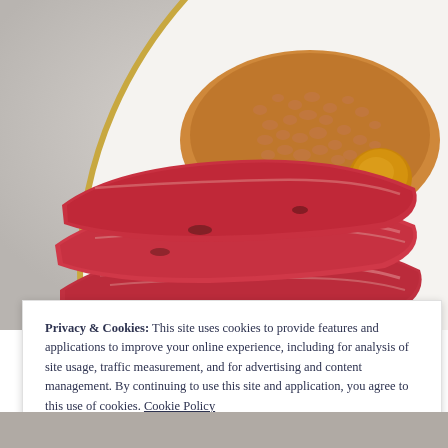[Figure (photo): A white plate with a gold rim containing slices of cured/smoked red meat (corned beef or pastrami) alongside baked beans with a round piece of cooked onion or potato, viewed from above on a light marble surface.]
Privacy & Cookies: This site uses cookies to provide features and applications to improve your online experience, including for analysis of site usage, traffic measurement, and for advertising and content management. By continuing to use this site and application, you agree to this use of cookies. Cookie Policy
Close and accept